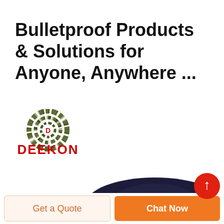Bulletproof Products & Solutions for Anyone, Anywhere ...
[Figure (logo): DEEKON brand logo with camouflage-pattern circular target emblem containing a red D, and red bold text DEEKON below]
[Figure (photo): Dark navy blue police officer peaked cap with silver/white POLICIA badge and emblem on the front, photographed on white background]
Get a Quote
Chat Now